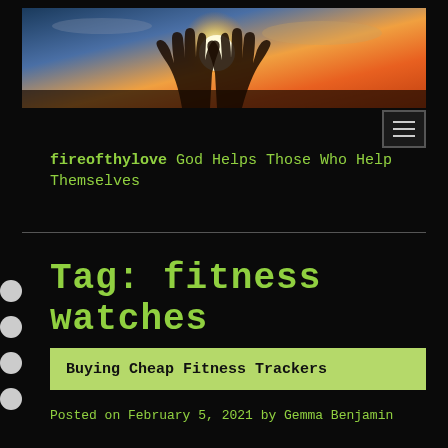[Figure (photo): Sunset background with silhouette of hands raised, warm orange and golden tones]
[Figure (other): Hamburger menu icon button]
fireofthylove God Helps Those Who Help Themselves
Tag: fitness watches
Buying Cheap Fitness Trackers
Posted on February 5, 2021 by Gemma Benjamin